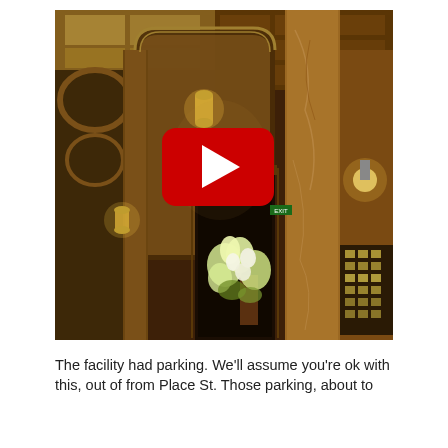[Figure (photo): Interior photo of an ornate hotel or historic building lobby with golden marble columns, arched ceilings, elaborate architectural details, warm lighting from vintage chandeliers and sconces, a floral arrangement visible in the lower left, and a reception desk area in the lower right. A YouTube play button overlay is centered on the image.]
The facility had parking. We'll assume you're ok with this, out of from Place St. Those parking, about to